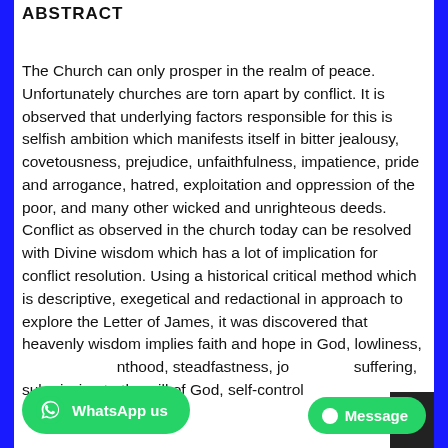ABSTRACT
The Church can only prosper in the realm of peace. Unfortunately churches are torn apart by conflict. It is observed that underlying factors responsible for this is selfish ambition which manifests itself in bitter jealousy, covetousness, prejudice, unfaithfulness, impatience, pride and arrogance, hatred, exploitation and oppression of the poor, and many other wicked and unrighteous deeds. Conflict as observed in the church today can be resolved with Divine wisdom which has a lot of implication for conflict resolution. Using a historical critical method which is descriptive, exegetical and redactional in approach to explore the Letter of James, it was discovered that heavenly wisdom implies faith and hope in God, lowliness, [priesthood], steadfastness, jo[y in] suffering, submission to the will of God, self-control